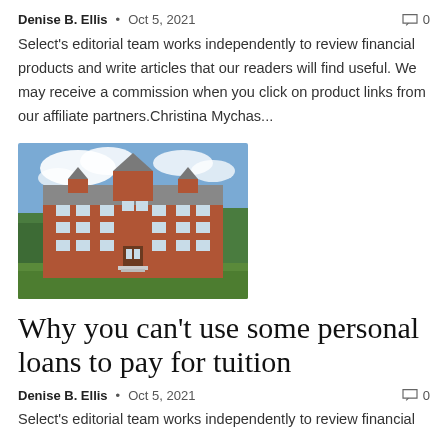Denise B. Ellis  •  Oct 5, 2021  [comment icon] 0
Select's editorial team works independently to review financial products and write articles that our readers will find useful. We may receive a commission when you click on product links from our affiliate partners.Christina Mychas...
[Figure (photo): Exterior photo of a red brick university building with multiple stories, dormer windows, a central entrance, trees in the background, and a green lawn in front, under a partly cloudy sky.]
Why you can't use some personal loans to pay for tuition
Denise B. Ellis  •  Oct 5, 2021  [comment icon] 0
Select's editorial team works independently to review financial